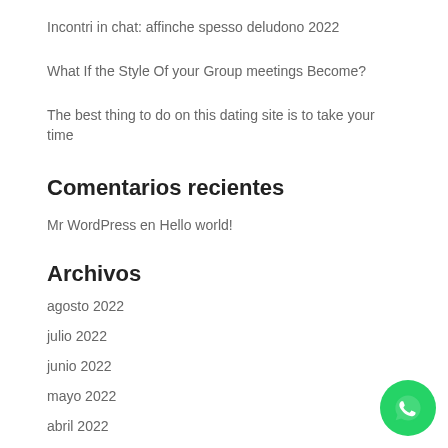Incontri in chat: affinche spesso deludono 2022
What If the Style Of your Group meetings Become?
The best thing to do on this dating site is to take your time
Comentarios recientes
Mr WordPress en Hello world!
Archivos
agosto 2022
julio 2022
junio 2022
mayo 2022
abril 2022
marzo 2022